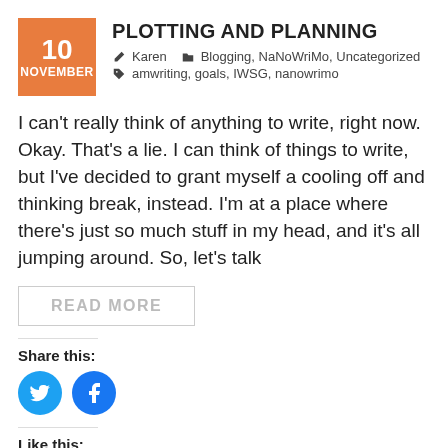PLOTTING AND PLANNING
Karen   Blogging, NaNoWriMo, Uncategorized
amwriting, goals, IWSG, nanowrimo
I can't really think of anything to write, right now. Okay. That's a lie. I can think of things to write, but I've decided to grant myself a cooling off and thinking break, instead. I'm at a place where there's just so much stuff in my head, and it's all jumping around. So, let's talk
READ MORE
Share this:
[Figure (illustration): Twitter and Facebook share icon buttons (blue circles with white bird and f icons)]
Like this: